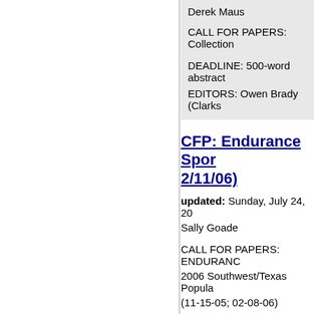Derek Maus
CALL FOR PAPERS: Collection
DEADLINE: 500-word abstract
EDITORS: Owen Brady (Clarks
CFP: Endurance Spor... 2/11/06)
updated: Sunday, July 24, 20
Sally Goade
CALL FOR PAPERS: ENDURANC
2006 Southwest/Texas Popula
(11-15-05; 02-08-06)
The 27th Annual Meeting of th
February 8-11, 2006